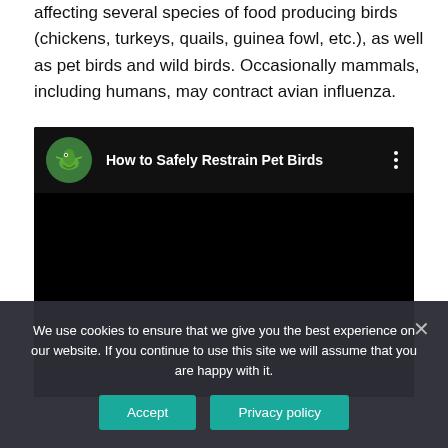affecting several species of food producing birds (chickens, turkeys, quails, guinea fowl, etc.), as well as pet birds and wild birds. Occasionally mammals, including humans, may contract avian influenza.
[Figure (screenshot): Embedded video player with black background showing title 'How to Safely Restrain Pet Birds' with a circular avatar icon of a lizard/chameleon on a hand, and three-dot menu icon.]
We use cookies to ensure that we give you the best experience on our website. If you continue to use this site we will assume that you are happy with it.
Accept | Privacy policy